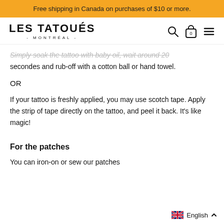Free shipping in Canada on purchases of $10 or more.
LES TATOUÉS - MONTRÉAL -
Simply soak the tattoo with baby oil, wait around 20 secondes and rub-off with a cotton ball or hand towel.
OR
If your tattoo is freshly applied, you may use scotch tape. Apply the strip of tape directly on the tattoo, and peel it back. It's like magic!
For the patches
You can iron-on or sew our patches
English